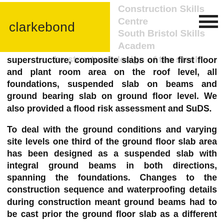clarkebond | Construction Skills Centre South Bristol Skills Academy
superstructure, composite slabs on the first floor and plant room area on the roof level, all foundations, suspended slab on beams and ground bearing slab on ground floor level. We also provided a flood risk assessment and SuDS.
To deal with the ground conditions and varying site levels one third of the ground floor slab area has been designed as a suspended slab with integral ground beams in both directions, spanning the foundations. Changes to the construction sequence and waterproofing details during construction meant ground beams had to be cast prior the ground floor slab as a different pour programme.
This required additional design calculation and capacity checks for the provided shear reinforcement between beams and slab. Clarkebond also provided a